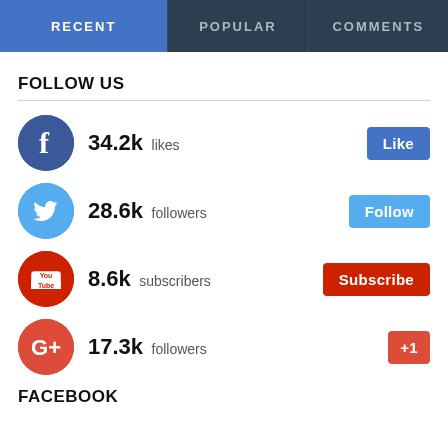RECENT | POPULAR | COMMENTS
FOLLOW US
34.2k likes
28.6k followers
8.6k subscribers
17.3k followers
FACEBOOK